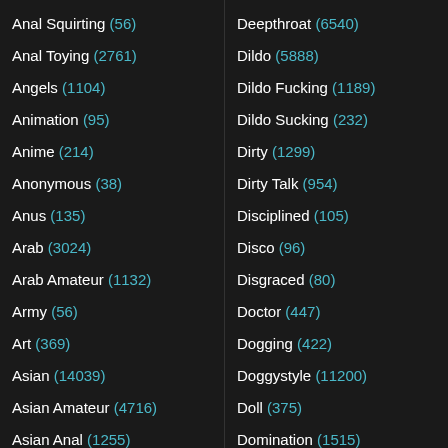Anal Squirting (56)
Anal Toying (2761)
Angels (1104)
Animation (95)
Anime (214)
Anonymous (38)
Anus (135)
Arab (3024)
Arab Amateur (1132)
Army (56)
Art (369)
Asian (14039)
Asian Amateur (4716)
Asian Anal (1255)
Asian Babe (2119)
Asian Blowjob (2599)
Deepthroat (6540)
Dildo (5888)
Dildo Fucking (1189)
Dildo Sucking (232)
Dirty (1299)
Dirty Talk (954)
Disciplined (105)
Disco (96)
Disgraced (80)
Doctor (447)
Dogging (422)
Doggystyle (11200)
Doll (375)
Domination (1515)
Dominatrix (234)
Dorm (202)